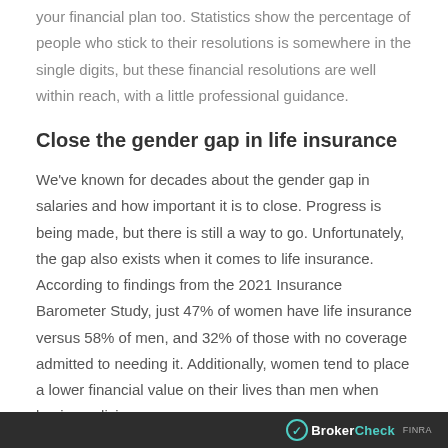your financial plan too. Statistics show the percentage of people who stick to their resolutions is somewhere in the single digits, but these financial resolutions are well within reach, with a little professional guidance.
Close the gender gap in life insurance
We've known for decades about the gender gap in salaries and how important it is to close. Progress is being made, but there is still a way to go. Unfortunately, the gap also exists when it comes to life insurance. According to findings from the 2021 Insurance Barometer Study, just 47% of women have life insurance versus 58% of men, and 32% of those with no coverage admitted to needing it. Additionally, women tend to place a lower financial value on their lives than men when buying policies.
BrokerCheck FINRA